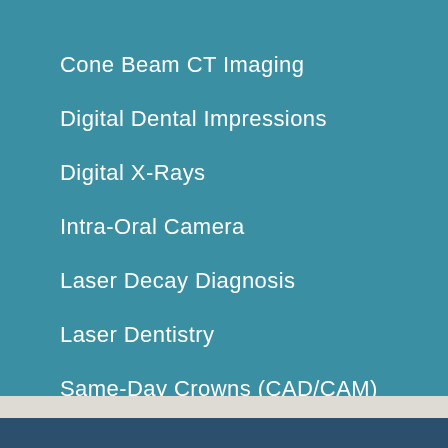Cone Beam CT Imaging
Digital Dental Impressions
Digital X-Rays
Intra-Oral Camera
Laser Decay Diagnosis
Laser Dentistry
Same-Day Crowns (CAD/CAM)